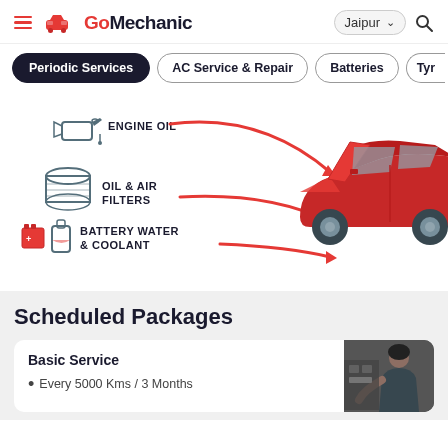GoMechanic — Jaipur
Periodic Services
AC Service & Repair
Batteries
Tyr
[Figure (illustration): Car service infographic showing a red sports car with its hood open, with icons and labels pointing to ENGINE OIL, OIL & AIR FILTERS, and BATTERY WATER & COOLANT using red arrow lines]
Scheduled Packages
Basic Service
Every 5000 Kms / 3 Months